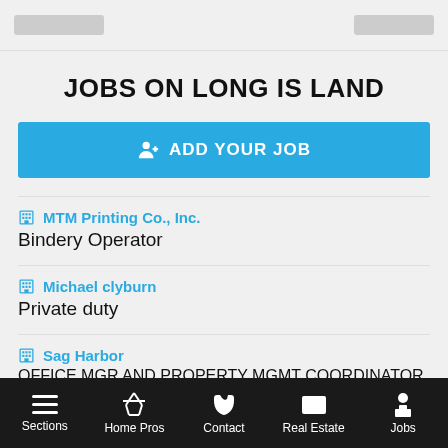JOBS ON LONG ISLAND
ADD YOUR JOB
MTM Printing Co., Inc. — Bindery Operator
Michael clyburn — Private duty
Sag Harbor — OFFICE MGR AND PROPERTY MGMT COORDINATOR
VIEW ALL JOBS
Sections | Home Pros | Contact | Real Estate | Jobs